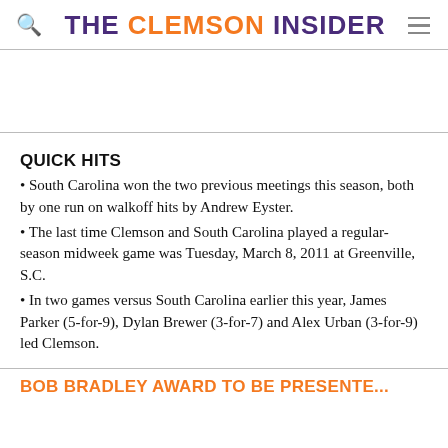THE CLEMSON INSIDER
QUICK HITS
South Carolina won the two previous meetings this season, both by one run on walkoff hits by Andrew Eyster.
The last time Clemson and South Carolina played a regular-season midweek game was Tuesday, March 8, 2011 at Greenville, S.C.
In two games versus South Carolina earlier this year, James Parker (5-for-9), Dylan Brewer (3-for-7) and Alex Urban (3-for-9) led Clemson.
BOB BRADLEY AWARD TO BE PRESENTE...